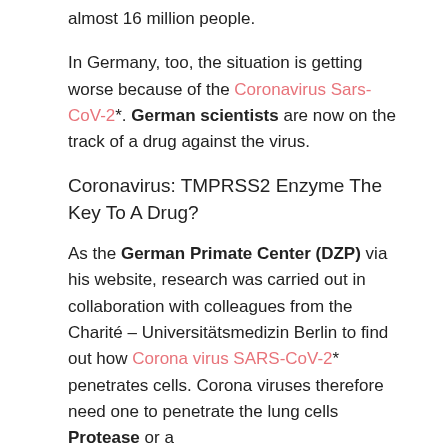almost 16 million people.
In Germany, too, the situation is getting worse because of the Coronavirus Sars-CoV-2*. German scientists are now on the track of a drug against the virus.
Coronavirus: TMPRSS2 Enzyme The Key To A Drug?
As the German Primate Center (DZP) via his website, research was carried out in collaboration with colleagues from the Charité – Universitätsmedizin Berlin to find out how Corona virus SARS-CoV-2* penetrates cells. Corona viruses therefore need one to penetrate the lung cells Protease or a